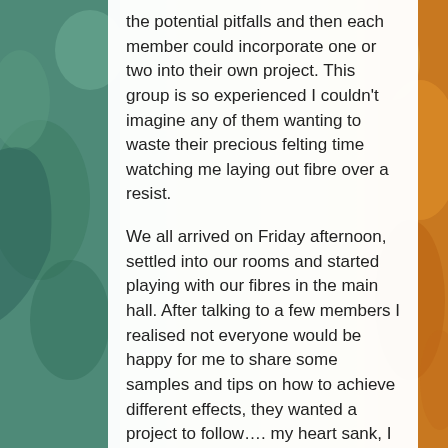[Figure (photo): Background photo of colorful felted textile artwork with teal/green on the left and orange/yellow on the right.]
the potential pitfalls and then each member could incorporate one or two into their own project. This group is so experienced I couldn't imagine any of them wanting to waste their precious felting time watching me laying out fibre over a resist.
We all arrived on Friday afternoon, settled into our rooms and started playing with our fibres in the main hall. After talking to a few members I realised not everyone would be happy for me to share some samples and tips on how to achieve different effects, they wanted a project to follow.... my heart sank, I hadn't planned for this, how was I